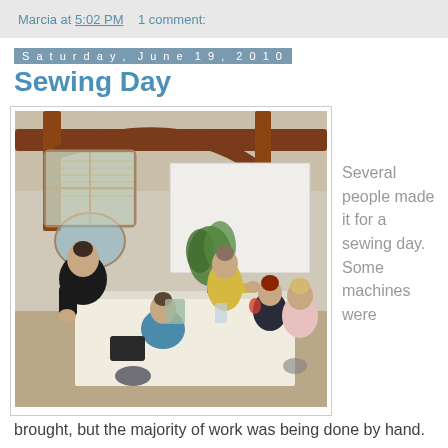Marcia at 5:02 PM    1 comment:
Saturday, June 19, 2010
Sewing Day
[Figure (photo): Several women gathered around a large table in a timber-frame room, sewing or doing handwork. One woman stands, others are seated. The room has exposed wooden beams, large windows, and a plant in the background.]
Several people made it for a sewing day. Some machines were brought, but the majority of work was being done by hand.